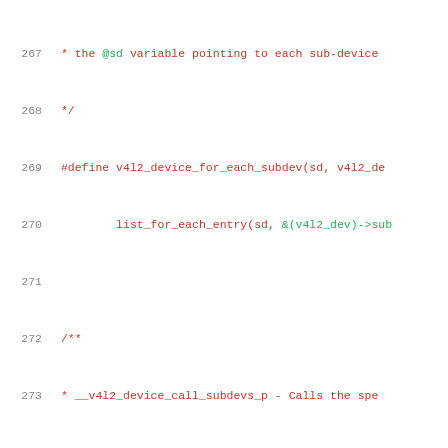Code listing lines 267-288, C source comment and macro definition for v4l2 kernel driver
267  * the @sd variable pointing to each sub-device
268  */
269  #define v4l2_device_for_each_subdev(sd, v4l2_de
270          list_for_each_entry(sd, &(v4l2_dev)->sub
271
272  /**
273  * __v4l2_device_call_subdevs_p - Calls the spe
274  *      all subdevs matching the condition.
275  *
276  * @v4l2_dev: &struct v4l2_device owning the sub
277  * @sd: pointer that will be filled by the macro
278  *      &struct v4l2_subdev pointer used as an i
279  * @cond: condition to be match
280  * @o: name of the element at &struct v4l2_subde
281  *      Each element there groups a set of opera
282  * @f: operation function that will be called in
283  *      The operation functions are defined in p
284  *      each element at &struct v4l2_subdev_ops
285  * @args: arguments for @f.
286  *
287  * Ignore any errors.
288  *